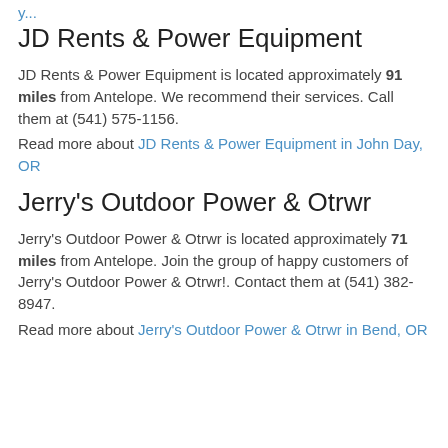JD Rents & Power Equipment
JD Rents & Power Equipment is located approximately 91 miles from Antelope. We recommend their services. Call them at (541) 575-1156.
Read more about JD Rents & Power Equipment in John Day, OR
Jerry's Outdoor Power & Otrwr
Jerry's Outdoor Power & Otrwr is located approximately 71 miles from Antelope. Join the group of happy customers of Jerry's Outdoor Power & Otrwr!. Contact them at (541) 382-8947.
Read more about Jerry's Outdoor Power & Otrwr in Bend, OR